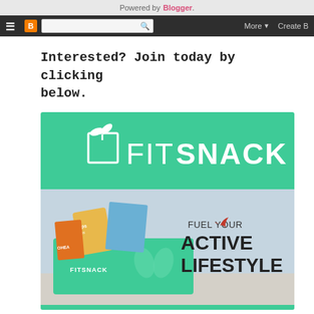Powered by Blogger.
Interested? Join today by clicking below.
[Figure (logo): FitSnack promotional banner showing the FitSnack logo on a teal/green background on top, and a photo of an open FitSnack subscription box filled with snack products with text 'FUEL YOUR ACTIVE LIFESTYLE' on the right side.]